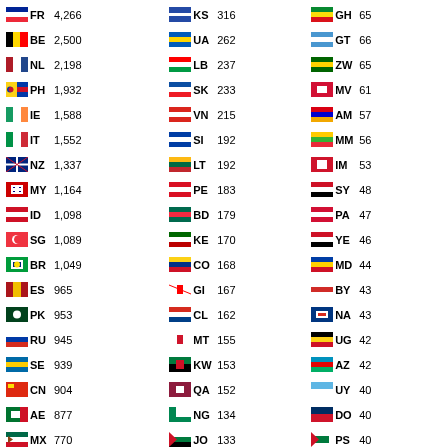| Flag | Code | Count | Flag | Code | Count | Flag | Code | Count |
| --- | --- | --- | --- | --- | --- | --- | --- | --- |
| FR | 4,266 | KS | 316 | GH | 65 |
| BE | 2,500 | UA | 262 | GT | 66 |
| NL | 2,198 | LB | 237 | ZW | 65 |
| PH | 1,932 | SK | 233 | MV | 61 |
| IE | 1,588 | VN | 215 | AM | 57 |
| IT | 1,552 | SI | 192 | MM | 56 |
| NZ | 1,337 | LT | 192 | IM | 53 |
| MY | 1,164 | PE | 183 | SY | 48 |
| ID | 1,098 | BD | 179 | PA | 47 |
| SG | 1,089 | KE | 170 | YE | 46 |
| BR | 1,049 | CO | 168 | MD | 44 |
| ES | 965 | GI | 167 | BY | 43 |
| PK | 953 | CL | 162 | NA | 43 |
| RU | 945 | MT | 155 | UG | 42 |
| SE | 939 | KW | 153 | AZ | 42 |
| CN | 904 | QA | 152 | UY | 40 |
| AE | 877 | NG | 134 | DO | 40 |
| MX | 770 | JO | 133 | PS | 40 |
| TR | 765 | OM | 128 | LU | 39 |
| PT | 757 | CY | 125 | TZ | 38 |
| NO | 739 | EE | 125 | HN | 37 |
| TH | 710 | MU | 117 | SD | 36 |
| CZ | 708 | GE | 115 | MN | 35 |
| CH | 672 | TT | 114 | JE | 35 |
| JP | 642 | MK | 114 | ET | 35 |
| PL | 634 | JM | 113 | BN | 33 |
| GR | 623 | PR | 109 | GY | 31 |
| DK | 581 | IQ | 103 | SV | 30 |
| TW | 549 | EC | 103 | KZ | 29 |
| SA | 547 | IS | 103 | LY | 29 |
| IL | 541 | LV | 102 | BB | 28 |
| RO | 515 | DZ | 93 | BS | 27 |
| KR | 494 | VE | 92 | BO | 23 |